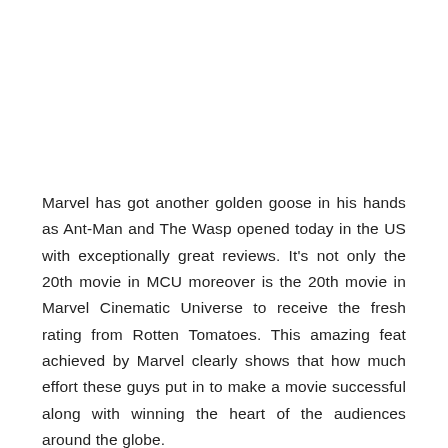Marvel has got another golden goose in his hands as Ant-Man and The Wasp opened today in the US with exceptionally great reviews. It's not only the 20th movie in MCU moreover is the 20th movie in Marvel Cinematic Universe to receive the fresh rating from Rotten Tomatoes. This amazing feat achieved by Marvel clearly shows that how much effort these guys put in to make a movie successful along with winning the heart of the audiences around the globe.